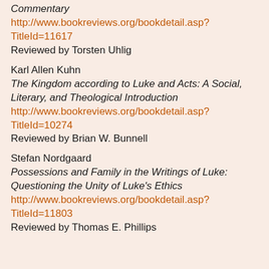Reading Isaiah: A Literary and Theological Commentary
http://www.bookreviews.org/bookdetail.asp?TitleId=11617
Reviewed by Torsten Uhlig
Karl Allen Kuhn
The Kingdom according to Luke and Acts: A Social, Literary, and Theological Introduction
http://www.bookreviews.org/bookdetail.asp?TitleId=10274
Reviewed by Brian W. Bunnell
Stefan Nordgaard
Possessions and Family in the Writings of Luke: Questioning the Unity of Luke's Ethics
http://www.bookreviews.org/bookdetail.asp?TitleId=11803
Reviewed by Thomas E. Phillips